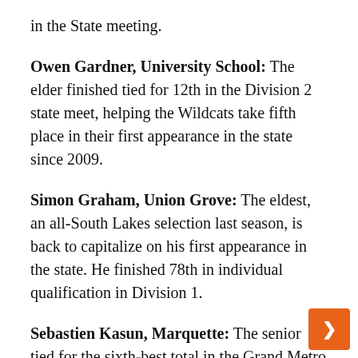in the State meeting.
Owen Gardner, University School: The elder finished tied for 12th in the Division 2 state meet, helping the Wildcats take fifth place in their first appearance in the state since 2009.
Simon Graham, Union Grove: The eldest, an all-South Lakes selection last season, is back to capitalize on his first appearance in the state. He finished 78th in individual qualification in Division 1.
Sebastien Kasun, Marquette: The senior tied for the sixth-best total in the Grand Metro and won a section title before posting the team's be... score in the state meet (tied for 18th). The